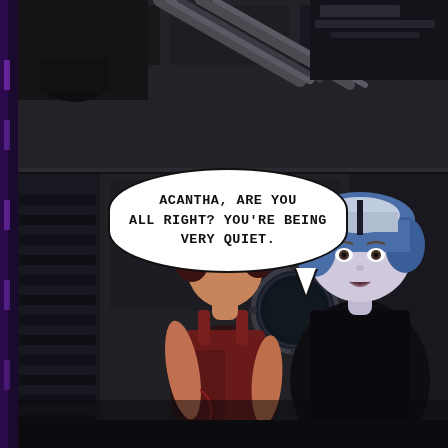[Figure (illustration): 3D-rendered comic panel showing two women in a dark sci-fi corridor/spaceship interior. The upper portion shows a dark mechanical ceiling with pipes and panels. In the main panel, a woman with short red/dark hair in a dark red tank top stands in the foreground, looking slightly away. Behind her stands a woman with blue and white hair in a black outfit, looking concerned. A circular porthole is visible in the background. The scene is dimly lit with dark metallic walls. A speech bubble from the blue-haired woman reads: 'ACANTHA, ARE YOU ALL RIGHT? YOU'RE BEING VERY QUIET.' There is a narrow vertical strip on the left showing a purple-lit edge.]